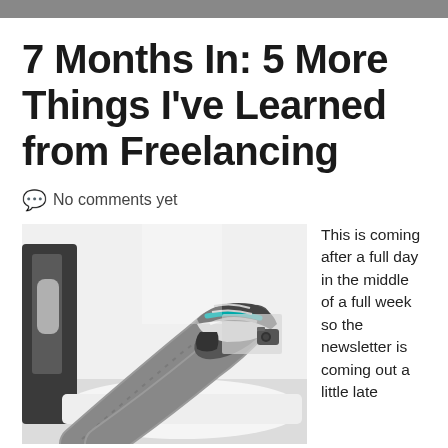7 Months In: 5 More Things I've Learned from Freelancing
No comments yet
[Figure (photo): Person reclining with feet up on a white surface, wearing jeans and teal-accented sneakers, dark wooden chair in background, camera visible on shelf]
This is coming after a full day in the middle of a full week so the newsletter is coming out a little late